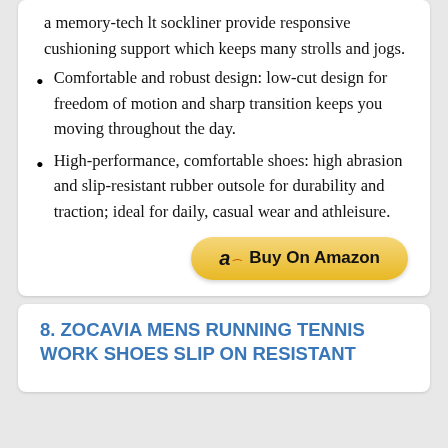a memory-tech lt sockliner provide responsive cushioning support which keeps many strolls and jogs.
Comfortable and robust design: low-cut design for freedom of motion and sharp transition keeps you moving throughout the day.
High-performance, comfortable shoes: high abrasion and slip-resistant rubber outsole for durability and traction; ideal for daily, casual wear and athleisure.
8. ZOCAVIA MENS RUNNING TENNIS WORK SHOES SLIP ON RESISTANT